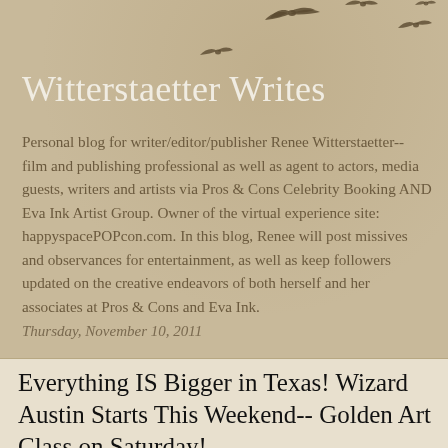[Figure (illustration): Silhouettes of birds in flight scattered across the upper right of the header background]
Witterstaetter Writes
Personal blog for writer/editor/publisher Renee Witterstaetter-- film and publishing professional as well as agent to actors, media guests, writers and artists via Pros & Cons Celebrity Booking AND Eva Ink Artist Group. Owner of the virtual experience site: happyspacePOPcon.com. In this blog, Renee will post missives and observances for entertainment, as well as keep followers updated on the creative endeavors of both herself and her associates at Pros & Cons and Eva Ink.
Thursday, November 10, 2011
Everything IS Bigger in Texas! Wizard Austin Starts This Weekend-- Golden Art Class on Saturday!